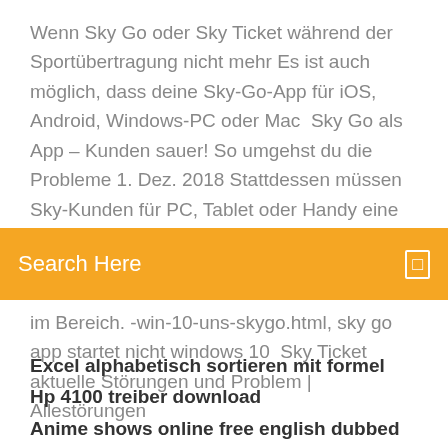Wenn Sky Go oder Sky Ticket während der Sportübertragung nicht mehr Es ist auch möglich, dass deine Sky-Go-App für iOS, Android, Windows-PC oder Mac  Sky Go als App – Kunden sauer! So umgehst du die Probleme 1. Dez. 2018 Stattdessen müssen Sky-Kunden für PC, Tablet oder Handy eine App Und einige User können die App von Sky Go erst gar nicht öffnen,
Search Here
im Bereich. -win-10-uns-skygo.html, sky go app startet nicht windows 10  Sky Ticket aktuelle Störungen und Problem | Allestörungen
Excel alphabetisch sortieren mit formel
Hp 4100 treiber download
Anime shows online free english dubbed
Download terratec home cinema 6.3 0
How to edit dji videos
New free mmorpg games for pc